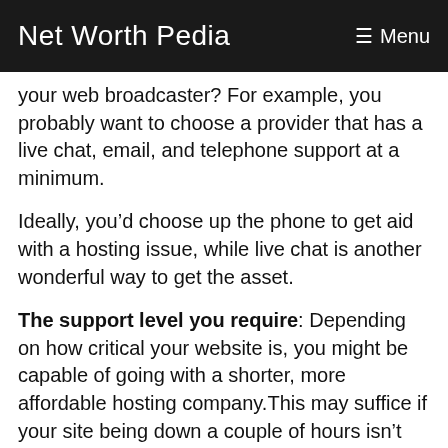Net Worth Pedia  ☰ Menu
your web broadcaster? For example, you probably want to choose a provider that has a live chat, email, and telephone support at a minimum.
Ideally, you’d choose up the phone to get aid with a hosting issue, while live chat is another wonderful way to get the asset.
The support level you require: Depending on how critical your website is, you might be capable of going with a shorter, more affordable hosting company.This may suffice if your site being down a couple of hours isn’t too impactful.